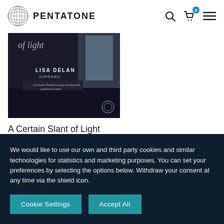PENTATONE
[Figure (photo): Album cover for 'A Certain Slant of Light – Songs on Poems of Emily Dickinson' featuring Lisa Delan, soprano, with a dark moody background showing a window and piano]
A Certain Slant of Light Songs on Poems of Emily Dickinson
Buy now
We would like to use our own and third party cookies and similar technologies for statistics and marketing purposes. You can set your preferences by selecting the options below. Withdraw your consent at any time via the shield icon.
Cookie Settings
Accept All